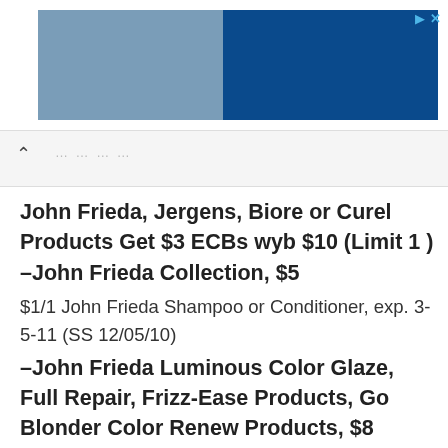[Figure (screenshot): Advertisement banner with blue and light blue rectangles and play/close icons]
John Frieda, Jergens, Biore or Curel Products Get $3 ECBs wyb $10 (Limit 1 )
–John Frieda Collection, $5
$1/1 John Frieda Shampoo or Conditioner, exp. 3-5-11 (SS 12/05/10)
–John Frieda Luminous Color Glaze, Full Repair, Frizz-Ease Products, Go Blonder Color Renew Products, $8
$1/1 John Frieda Haircare Product, exp. 3-